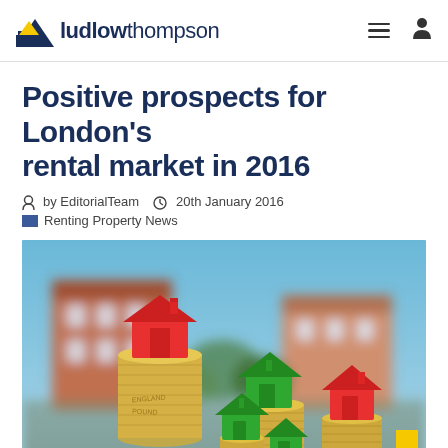ludlowthompson
Positive prospects for London's rental market in 2016
by EditorialTeam  20th January 2016
Renting Property News
[Figure (photo): Stacks of pound coins with red and green toy houses on top, representing the London rental property market, with a blurred residential building in the background.]